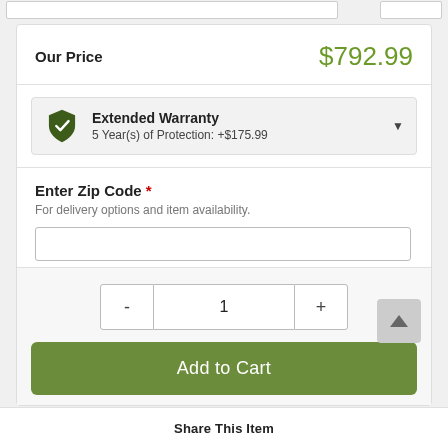Our Price
$792.99
Extended Warranty
5 Year(s) of Protection: +$175.99
Enter Zip Code *
For delivery options and item availability.
1
Add to Cart
Share This Item